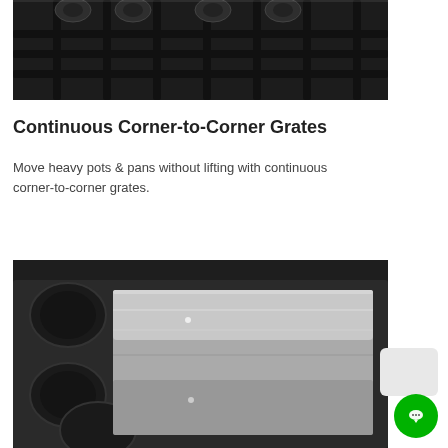[Figure (photo): Close-up top-down view of dark/black gas stove burner grates with knobs visible at top]
Continuous Corner-to-Corner Grates
Move heavy pots & pans without lifting with continuous corner-to-corner grates.
[Figure (photo): Close-up view of stainless steel baking pan/sheet laying on top of dark muffin/cupcake baking trays in a drawer or oven cavity]